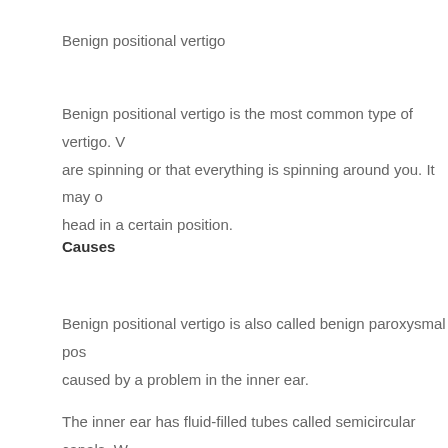Benign positional vertigo
Benign positional vertigo is the most common type of vertigo. Vertigo causes you to feel like you are spinning or that everything is spinning around you. It may occur when you move your head in a certain position.
Causes
Benign positional vertigo is also called benign paroxysmal positional vertigo (BPPV). It is caused by a problem in the inner ear.
The inner ear has fluid-filled tubes called semicircular canals. When you move, fluid moves inside these tubes. The canals are very sensitive to any movement of the fluid. The sensation of the fluid moving in the tube tells your brain the po...